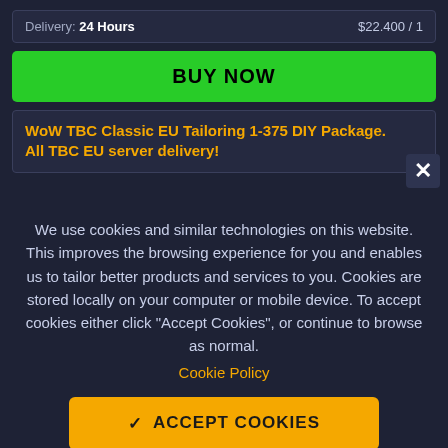Delivery: 24 Hours    $22.400 / 1
BUY NOW
WoW TBC Classic EU Tailoring 1-375 DIY Package. All TBC EU server delivery!
We use cookies and similar technologies on this website. This improves the browsing experience for you and enables us to tailor better products and services to you. Cookies are stored locally on your computer or mobile device. To accept cookies either click "Accept Cookies", or continue to browse as normal.
Cookie Policy
✓ ACCEPT COOKIES
Cookie Settings and Details ▼